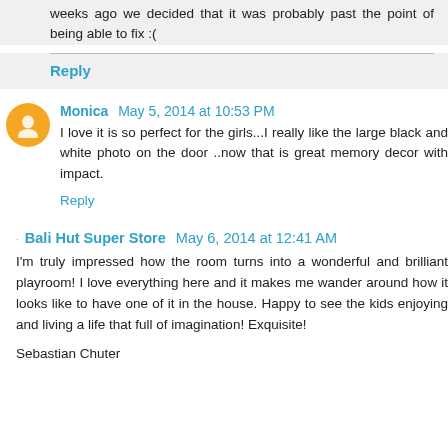weeks ago we decided that it was probably past the point of being able to fix :(
Reply
Monica  May 5, 2014 at 10:53 PM
I love it is so perfect for the girls...I really like the large black and white photo on the door ..now that is great memory decor with impact.
Reply
Bali Hut Super Store  May 6, 2014 at 12:41 AM
I'm truly impressed how the room turns into a wonderful and brilliant playroom! I love everything here and it makes me wander around how it looks like to have one of it in the house. Happy to see the kids enjoying and living a life that full of imagination! Exquisite!
Sebastian Chuter